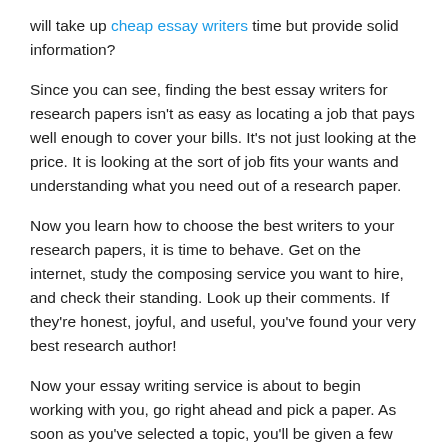will take up cheap essay writers time but provide solid information?
Since you can see, finding the best essay writers for research papers isn't as easy as locating a job that pays well enough to cover your bills. It's not just looking at the price. It is looking at the sort of job fits your wants and understanding what you need out of a research paper.
Now you learn how to choose the best writers to your research papers, it is time to behave. Get on the internet, study the composing service you want to hire, and check their standing. Look up their comments. If they're honest, joyful, and useful, you've found your very best research author!
Now your essay writing service is about to begin working with you, go right ahead and pick a paper. As soon as you've selected a topic, you'll be given a few papers that will provide you illustrations of your own topic.
You can then review each paper and start to write your own. The reason why you wish to do this is as you will have the ability to learn from the errors and make the necessary changes to increase your composition. That's the reason why this step is so essential. Nobody is perfect, therefore learning from these will